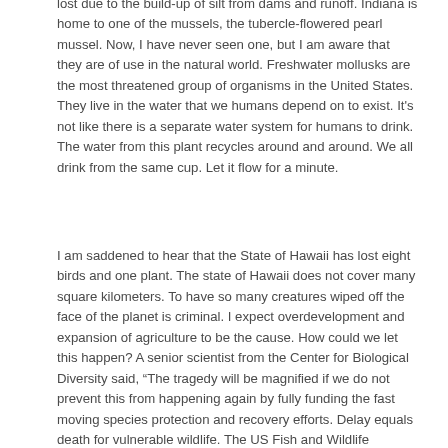lost due to the build-up of silt from dams and runoff. Indiana is home to one of the mussels, the tubercle-flowered pearl mussel. Now, I have never seen one, but I am aware that they are of use in the natural world. Freshwater mollusks are the most threatened group of organisms in the United States. They live in the water that we humans depend on to exist. It’s not like there is a separate water system for humans to drink. The water from this plant recycles around and around. We all drink from the same cup. Let it flow for a minute.
I am saddened to hear that the State of Hawaii has lost eight birds and one plant. The state of Hawaii does not cover many square kilometers. To have so many creatures wiped off the face of the planet is criminal. I expect overdevelopment and expansion of agriculture to be the cause. How could we let this happen? A senior scientist from the Center for Biological Diversity said, “The tragedy will be magnified if we do not prevent this from happening again by fully funding the fast moving species protection and recovery efforts. Delay equals death for vulnerable wildlife. The US Fish and Wildlife